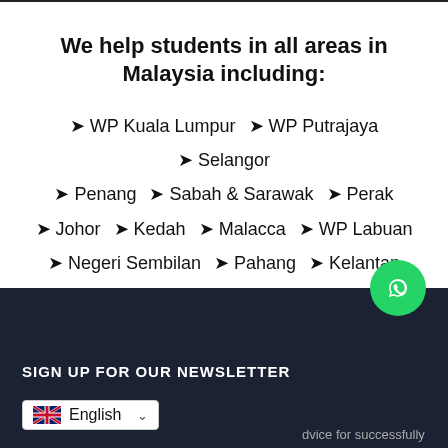We help students in all areas in Malaysia including:
WP Kuala Lumpur
WP Putrajaya
Selangor
Penang
Sabah & Sarawak
Perak
Johor
Kedah
Malacca
WP Labuan
Negeri Sembilan
Pahang
Kelantan
Terengganu
Perlis
SIGN UP FOR OUR NEWSLETTER